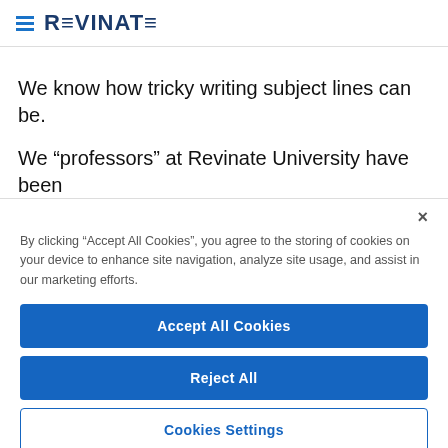REVINATE
We know how tricky writing subject lines can be.
We “professors” at Revinate University have been
By clicking “Accept All Cookies”, you agree to the storing of cookies on your device to enhance site navigation, analyze site usage, and assist in our marketing efforts.
Accept All Cookies
Reject All
Cookies Settings